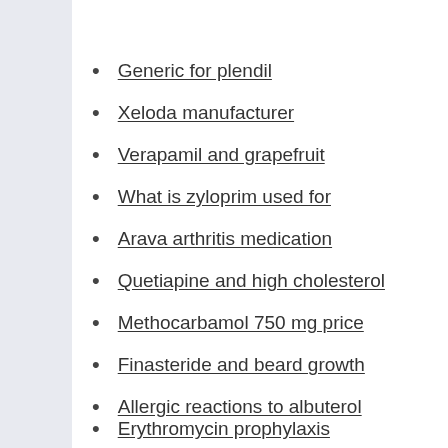Generic for plendil
Xeloda manufacturer
Verapamil and grapefruit
What is zyloprim used for
Arava arthritis medication
Quetiapine and high cholesterol
Methocarbamol 750 mg price
Finasteride and beard growth
Allergic reactions to albuterol
Erythromycin prophylaxis